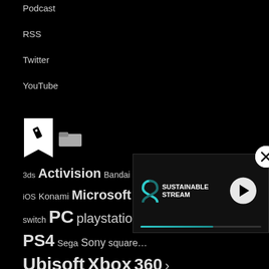Podcast
RSS
Twitter
YouTube
[Figure (illustration): Bookmark icon and folder icon side by side]
3ds Activision Bandai Namco b... iOS Konami Microsoft nin... switch PC playstation ... PS4 Sega Sony square... Ubisoft Xbox 360 ›
[Figure (screenshot): Video player overlay showing Sustainable Stream logo with play button and progress bar, and close (X) button]